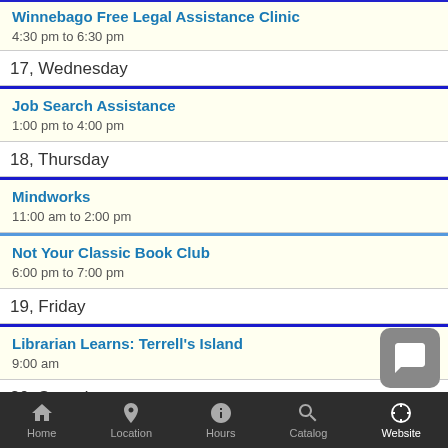Winnebago Free Legal Assistance Clinic
4:30 pm to 6:30 pm
17, Wednesday
Job Search Assistance
1:00 pm to 4:00 pm
18, Thursday
Mindworks
11:00 am to 2:00 pm
Not Your Classic Book Club
6:00 pm to 7:00 pm
19, Friday
Librarian Learns: Terrell's Island
9:00 am
20, Saturday
Thanks a Million Oshkosh!
9:00 am to 1:00 pm
Home | Location | Hours | Catalog | Website